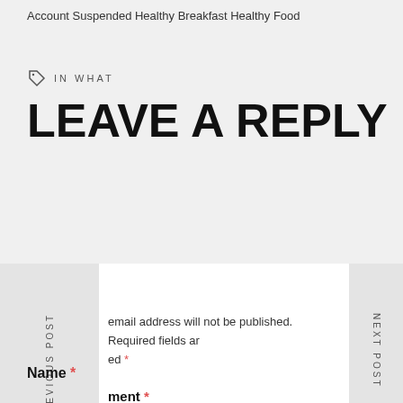Account Suspended Healthy Breakfast Healthy Food
IN WHAT
LEAVE A REPLY
email address will not be published. Required fields are marked *
Comment *
Name *